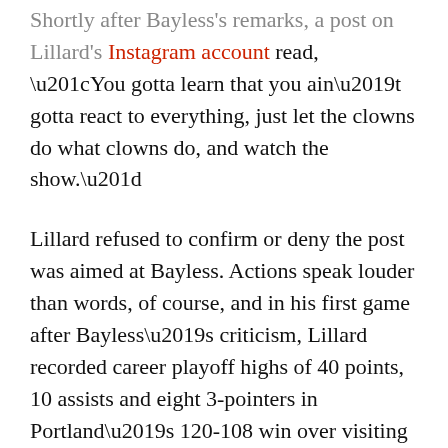Shortly after Bayless's remarks, a post on Lillard's Instagram account read, “You gotta learn that you ain’t gotta react to everything, just let the clowns do what clowns do, and watch the show.”
Lillard refused to confirm or deny the post was aimed at Bayless. Actions speak louder than words, of course, and in his first game after Bayless’s criticism, Lillard recorded career playoff highs of 40 points, 10 assists and eight 3-pointers in Portland’s 120-108 win over visiting Golden State.
In the first round of the playoffs, he helped lead the Blazers out of an 0-2 hole to take four in a row from the Los Angeles Clippers, owned by Steve Ballmer, Allen’s one-time co-worker at a computer shop in Redmond.
“(Bayless) can say whatever he wants,” Lillard said after the game Saturday. “I think what I do speaks for itself.”